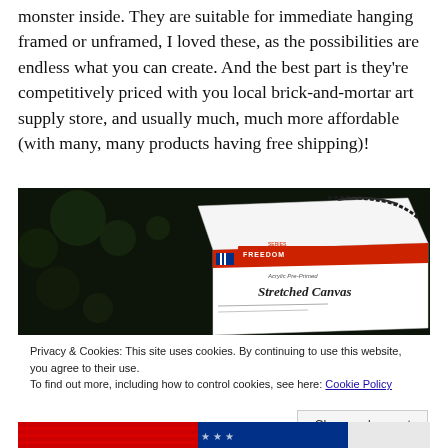monster inside. They are suitable for immediate hanging framed or unframed, I loved these, as the possibilities are endless what you can create. And the best part is they're competitively priced with you local brick-and-mortar art supply store, and usually much, much more affordable (with many, many products having free shipping)!
[Figure (photo): Photo of a Freedom Series Acrylic Pre-Primed Stretched Canvas product box against a dark background]
Privacy & Cookies: This site uses cookies. By continuing to use this website, you agree to their use.
To find out more, including how to control cookies, see here: Cookie Policy
[Figure (photo): Partial photo at bottom of page showing patriotic/American flag themed image]